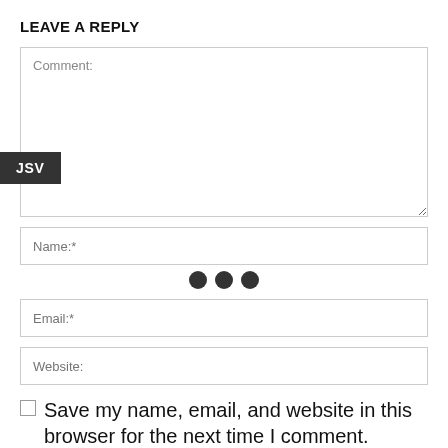LEAVE A REPLY
Comment:
JSV
Name:*
Email:*
Website:
Save my name, email, and website in this browser for the next time I comment.